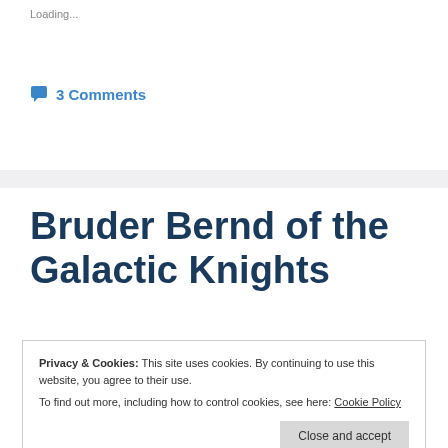Loading...
3 Comments
Bruder Bernd of the Galactic Knights
Privacy & Cookies: This site uses cookies. By continuing to use this website, you agree to their use.
To find out more, including how to control cookies, see here: Cookie Policy
Here is the next member of the 3rd Gruppe 2nd